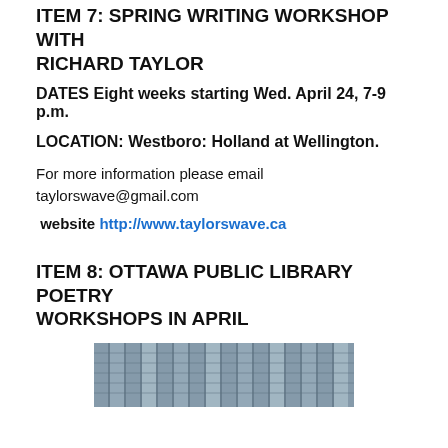ITEM 7:  SPRING WRITING WORKSHOP WITH RICHARD TAYLOR
DATES Eight weeks starting Wed. April 24, 7-9 p.m.
LOCATION: Westboro: Holland at Wellington.
For more information please email taylorswave@gmail.com
website http://www.taylorswave.ca
ITEM 8: OTTAWA PUBLIC LIBRARY POETRY WORKSHOPS IN APRIL
[Figure (photo): Exterior photo of a glass building, likely the Ottawa Public Library]